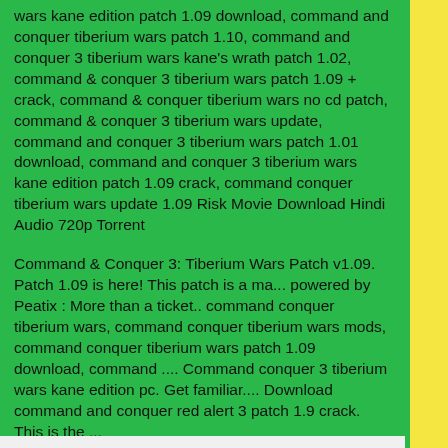wars kane edition patch 1.09 download, command and conquer tiberium wars patch 1.10, command and conquer 3 tiberium wars kane's wrath patch 1.02, command & conquer 3 tiberium wars patch 1.09 + crack, command & conquer tiberium wars no cd patch, command & conquer 3 tiberium wars update, command and conquer 3 tiberium wars patch 1.01 download, command and conquer 3 tiberium wars kane edition patch 1.09 crack, command conquer tiberium wars update 1.09 Risk Movie Download Hindi Audio 720p Torrent
Command & Conquer 3: Tiberium Wars Patch v1.09. Patch 1.09 is here! This patch is a ma... powered by Peatix : More than a ticket.. command conquer tiberium wars, command conquer tiberium wars mods, command conquer tiberium wars patch 1.09 download, command .... Command conquer 3 tiberium wars kane edition pc. Get familiar.... Download command and conquer red alert 3 patch 1.9 crack. This is the ... Force%202%20movie%20free%20download%20in%20
sezenaksuklasikleriindir